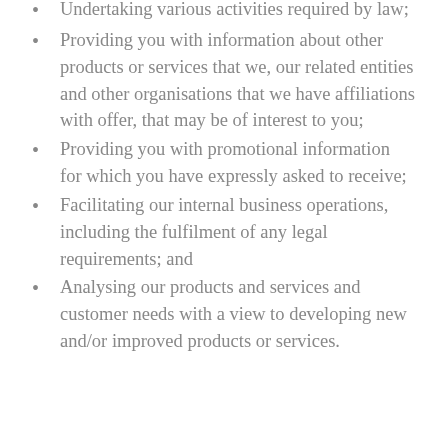Undertaking various activities required by law;
Providing you with information about other products or services that we, our related entities and other organisations that we have affiliations with offer, that may be of interest to you;
Providing you with promotional information for which you have expressly asked to receive;
Facilitating our internal business operations, including the fulfilment of any legal requirements; and
Analysing our products and services and customer needs with a view to developing new and/or improved products or services.